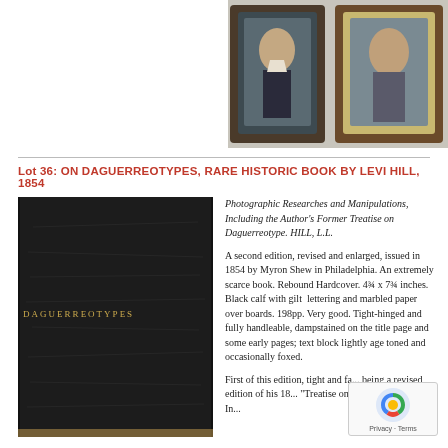[Figure (photo): Two daguerreotype portrait photographs in cases, showing two different individuals]
Lot 36: ON DAGUERREOTYPES, RARE HISTORIC BOOK BY LEVI HILL, 1854
[Figure (photo): Book with black calf cover and gilt lettering reading ON DAGUERREOTYPES]
Photographic Researches and Manipulations, Including the Author's Former Treatise on Daguerreotype. HILL, L.L.

A second edition, revised and enlarged, issued in 1854 by Myron Shew in Philadelphia. An extremely scarce book. Rebound Hardcover. 4¾ x 7¾ inches. Black calf with gilt lettering and marbled paper over boards. 198pp. Very good. Tight-hinged and fully handleable, dampstained on the title page and some early pages; text block lightly age toned and occasionally foxed.

First of this edition, tight and fa... being a revised edition of his 18... "Treatise on Daguerreotype." In...